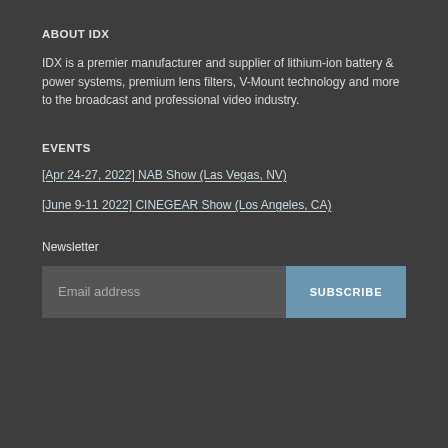ABOUT IDX
IDX is a premier manufacturer and supplier of lithium-ion battery & power systems, premium lens filters, V-Mount technology and more to the broadcast and professional video industry.
EVENTS
[Apr 24-27, 2022] NAB Show (Las Vegas, NV)
[June 9-11 2022] CINEGEAR Show (Los Angeles, CA)
Newsletter
Email address  SUBSCRIBE